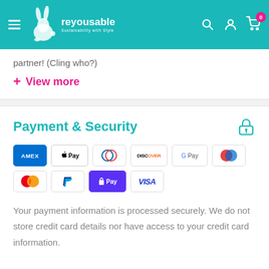reyousable — Sustainability with Style
partner! (Cling who?)
+ View more
Payment & Security
[Figure (other): Payment method icons: AMEX, Apple Pay, Diners Club, Discover, Google Pay, Maestro, Mastercard, PayPal, Shop Pay, Visa]
Your payment information is processed securely. We do not store credit card details nor have access to your credit card information.